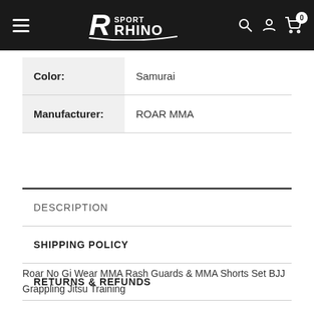Sport Rhino — navigation header with hamburger menu, logo, search, account, and cart icons
| Label | Value |
| --- | --- |
| Color: | Samurai |
| Manufacturer: | ROAR MMA |
DESCRIPTION
SHIPPING POLICY
RETURNS & REFUNDS
Roar No Gi Wear MMA Rash Guards & MMA Shorts Set BJJ Grappling Jitsu Training